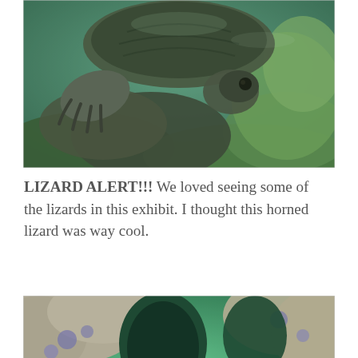[Figure (photo): Underwater photo of a turtle or large reptile from below, showing claws/flippers against green mossy rocks and algae in murky greenish water.]
LIZARD ALERT!!! We loved seeing some of the lizards in this exhibit. I thought this horned lizard was way cool.
[Figure (photo): Close-up photo of a horned lizard inside an enclosure with green-lit rocks and cave-like openings. The lizard is small and spiky, sitting among straw/hay on a sandy rocky surface bathed in green light.]